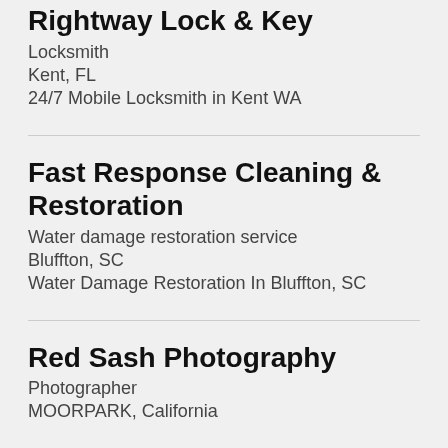Rightway Lock & Key
Locksmith
Kent, FL
24/7 Mobile Locksmith in Kent WA
Fast Response Cleaning & Restoration
Water damage restoration service
Bluffton, SC
Water Damage Restoration In Bluffton, SC
Red Sash Photography
Photographer
MOORPARK, California